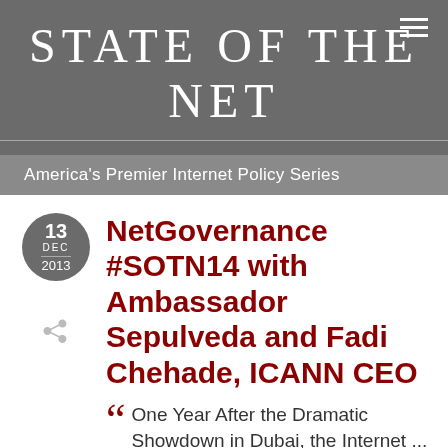STATE OF THE NET
America's Premier Internet Policy Series
NetGovernance #SOTN14 with Ambassador Sepulveda and Fadi Chehade, ICANN CEO
One Year After the Dramatic Showdown in Dubai, the Internet ...